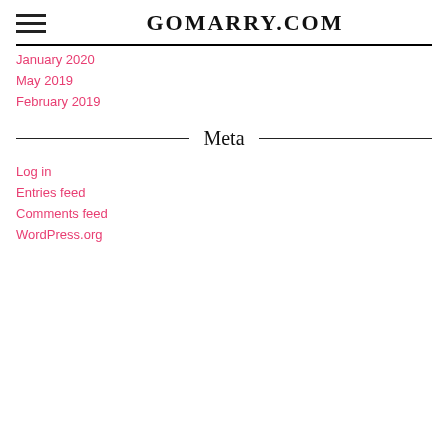GOMARRY.COM
January 2020
May 2019
February 2019
Meta
Log in
Entries feed
Comments feed
WordPress.org